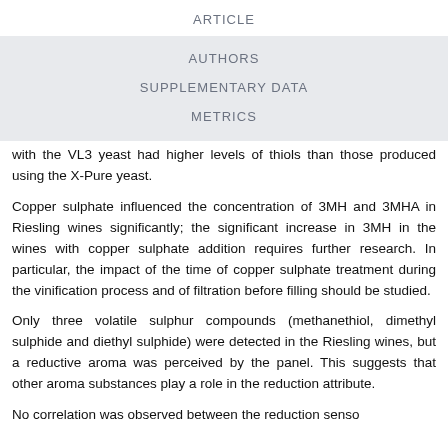ARTICLE
AUTHORS
SUPPLEMENTARY DATA
METRICS
with the VL3 yeast had higher levels of thiols than those produced using the X-Pure yeast.
Copper sulphate influenced the concentration of 3MH and 3MHA in Riesling wines significantly; the significant increase in 3MH in the wines with copper sulphate addition requires further research. In particular, the impact of the time of copper sulphate treatment during the vinification process and of filtration before filling should be studied.
Only three volatile sulphur compounds (methanethiol, dimethyl sulphide and diethyl sulphide) were detected in the Riesling wines, but a reductive aroma was perceived by the panel. This suggests that other aroma substances play a role in the reduction attribute.
No correlation was observed between the reduction sensor...